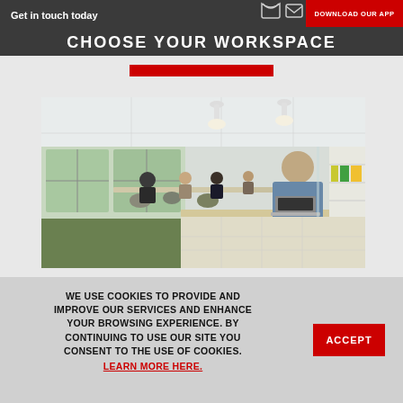Get in touch today | CHOOSE YOUR WORKSPACE | DOWNLOAD OUR APP
[Figure (illustration): Red horizontal bar used as a decorative separator below the header]
[Figure (photo): Office coworking space photo: several people working at desks in a modern open-plan office with green carpet, pendant lights, large windows, and shelving. A man in a blue shirt works on a laptop in the foreground. A black circular scroll-up button with a chevron up arrow overlays the bottom-right of the image.]
WE USE COOKIES TO PROVIDE AND IMPROVE OUR SERVICES AND ENHANCE YOUR BROWSING EXPERIENCE. BY CONTINUING TO USE OUR SITE YOU CONSENT TO THE USE OF COOKIES. LEARN MORE HERE.
ACCEPT